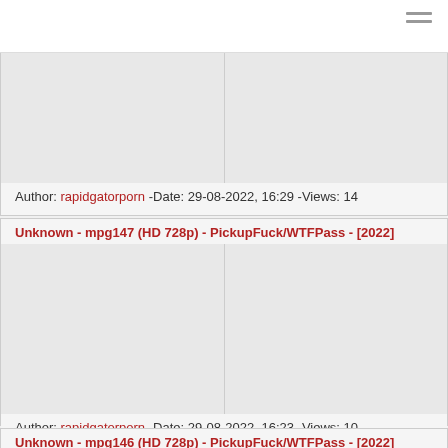Author: rapidgatorporn -Date: 29-08-2022, 16:29 -Views: 14
Unknown - mpg147 (HD 728p) - PickupFuck/WTFPass - [2022]
Author: rapidgatorporn -Date: 29-08-2022, 16:23 -Views: 10
Unknown - mpg146 (HD 728p) - PickupFuck/WTFPass - [2022]